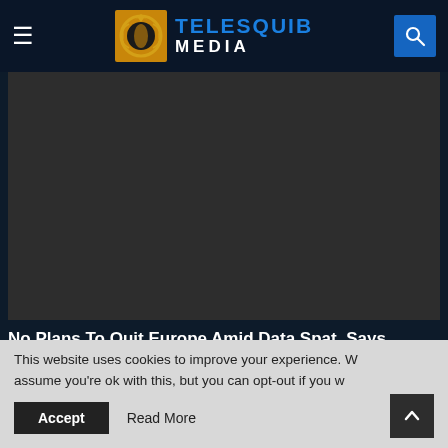TELESQUIB MEDIA
[Figure (photo): Dark placeholder image for article about Facebook Meta and Europe data]
No Plans To Quit Europe Amid Data Spat, Says Facebook's Meta
Half Of Europe On Track To Catch Omicron,
This website uses cookies to improve your experience. We assume you're ok with this, but you can opt-out if you wish.